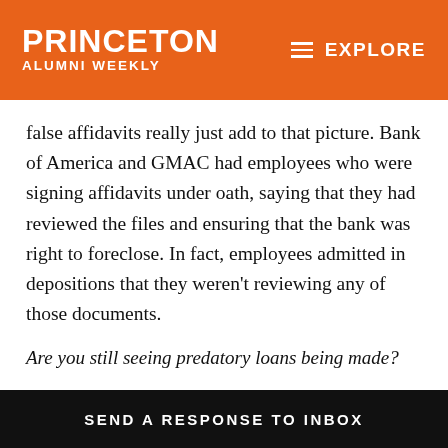PRINCETON ALUMNI WEEKLY | EXPLORE
false affidavits really just add to that picture. Bank of America and GMAC had employees who were signing affidavits under oath, saying that they had reviewed the files and ensuring that the bank was right to foreclose. In fact, employees admitted in depositions that they weren't reviewing any of those documents.
Are you still seeing predatory loans being made?
Although I do have some predatory lending cases here, more of the cases I'm dealing with now — and I think this is the way the foreclosure crisis is changing — are largely
SEND A RESPONSE TO INBOX